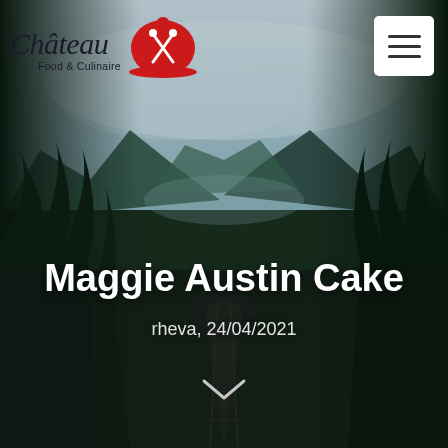[Figure (photo): Background photo of a misty mountain landscape with a railway track leading into the distance, flanked by tall dark green conifer trees, with mountains and foggy sky in the background.]
[Figure (logo): Château Food & Culinaire logo with cursive chateau text and red cloche dish cover icon with crossed fork and spoon.]
[Figure (other): White hamburger menu button with three horizontal lines in upper right corner.]
Maggie Austin Cake
rheva, 24/04/2021